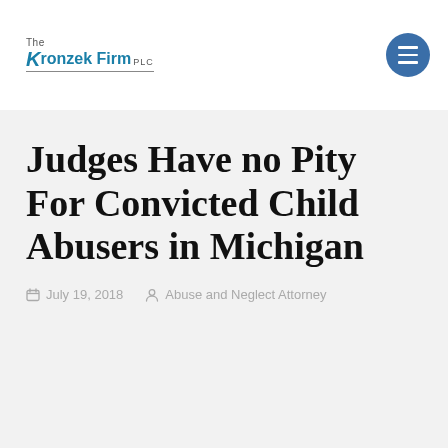The Kronzek Firm PLC
Judges Have no Pity For Convicted Child Abusers in Michigan
July 19, 2018   Abuse and Neglect Attorney